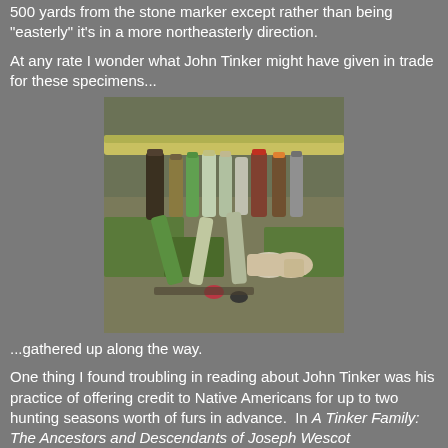500 yards from the stone marker except rather than being "easterly" it's in a more northeasterly direction.
At any rate I wonder what John Tinker might have given in trade for these specimens...
[Figure (photo): A collection of discarded plastic bottles, glass bottles, cans, and other litter gathered on grass near a fence or barrier.]
...gathered up along the way.
One thing I found troubling in reading about John Tinker was his practice of offering credit to Native Americans for up to two hunting seasons worth of furs in advance.  In A Tinker Family: The Ancestors and Descendants of Joseph Wescot